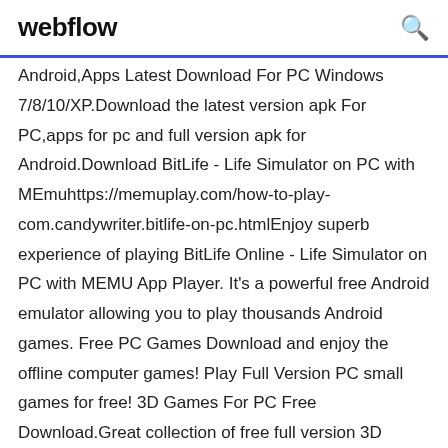webflow
Android,Apps Latest Download For PC Windows 7/8/10/XP.Download the latest version apk For PC,apps for pc and full version apk for Android.Download BitLife - Life Simulator on PC with MEmuhttps://memuplay.com/how-to-play-com.candywriter.bitlife-on-pc.htmlEnjoy superb experience of playing BitLife Online - Life Simulator on PC with MEMU App Player. It's a powerful free Android emulator allowing you to play thousands Android games. Free PC Games Download and enjoy the offline computer games! Play Full Version PC small games for free! 3D Games For PC Free Download.Great collection of free full version 3D Games for PC / Laptop in 2016.Our free 3D